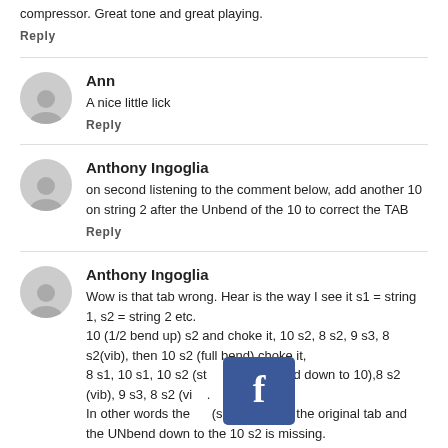compressor. Great tone and great playing.
Reply
Ann
A nice little lick
Reply
Anthony Ingoglia
on second listening to the comment below, add another 10 on string 2 after the Unbend of the 10 to correct the TAB
Reply
Anthony Ingoglia
Wow is that tab wrong. Hear is the way I see it s1 = string 1, s2 = string 2 etc.
10 (1/2 bend up) s2 and choke it, 10 s2, 8 s2, 9 s3, 8 s2(vib), then 10 s2 (full bend) choke it,
8 s1, 10 s1, 10 s2 (st... m 1/2 bend down to 10),8 s2 (vib), 9 s3, 8 s2 (vi....
In other words the ... (s s3) is not in the original tab and the UNbend down to the 10 s2 is missing.